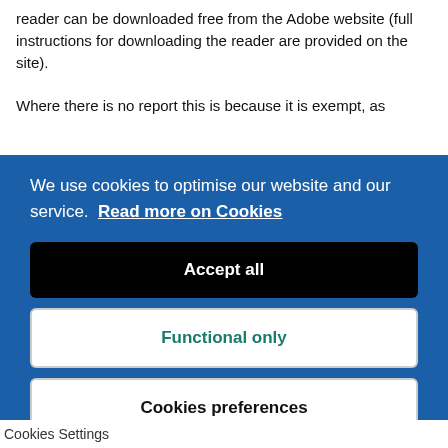reader can be downloaded free from the Adobe website (full instructions for downloading the reader are provided on the site).
Where there is no report this is because it is exempt, as
We use cookies to optimise our website and our service.  Read more on Cookies
Accept all
Functional only
Cookies preferences
Cookies Settings